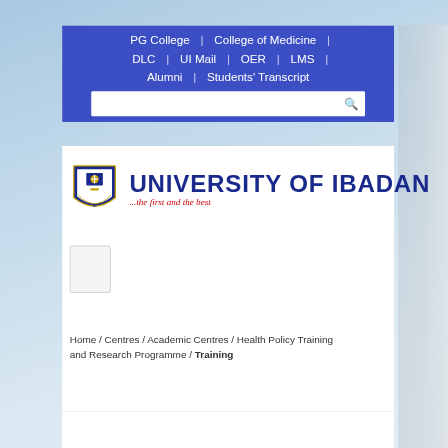PG College | College of Medicine | DLC | UI Mail | OER | LMS | Alumni | Students' Transcript
[Figure (logo): University of Ibadan logo with shield/crest and text: UNIVERSITY OF IBADAN ...the first and the best]
[Figure (screenshot): Small checkbox/placeholder icon]
Home / Centres / Academic Centres / Health Policy Training and Research Programme / Training